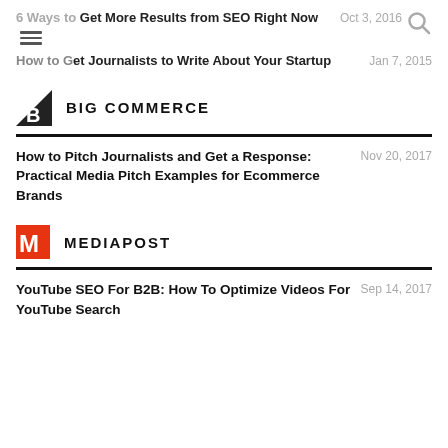6 Ways to Get More Results from SEO Right Now — Oct 3, 2016
How to Get Journalists to Write About Your Startup — Jan 7, 2015
[Figure (logo): BigCommerce logo — black triangle with B]
BIG COMMERCE
How to Pitch Journalists and Get a Response: Practical Media Pitch Examples for Ecommerce Brands — Nov 20, 2017
[Figure (logo): MediaPost logo — red M letter mark]
MEDIAPOST
YouTube SEO For B2B: How To Optimize Videos For YouTube Search — Sep 14, 2017